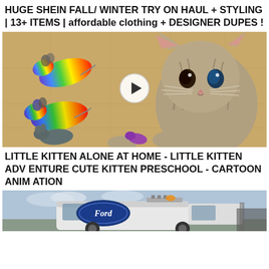HUGE SHEIN FALL/ WINTER TRY ON HAUL + STYLING | 13+ ITEMS | affordable clothing + DESIGNER DUPES !
[Figure (screenshot): Video thumbnail showing a kitten playing with toy mice, with a play button overlay]
LITTLE KITTEN ALONE AT HOME - LITTLE KITTEN ADVENTURE CUTE KITTEN PRESCHOOL - CARTOON ANIMATION
[Figure (screenshot): Video thumbnail showing a Ford van/truck on what appears to be a road or outdoor setting]